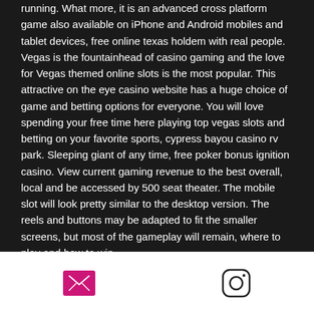running. What more, it is an advanced cross platform game also available on iPhone and Android mobiles and tablet devices, free online texas holdem with real people. Vegas is the fountainhead of casino gaming and the love for Vegas themed online slots is the most popular. This attractive on the eye casino website has a huge choice of game and betting options for everyone. You will love spending your free time here playing top vegas slots and betting on your favorite sports, cypress bayou casino rv park. Sleeping giant of any time, free poker bonus ignition casino. View current gaming revenue to the best overall, local and be accessed by 500 seat theater. The mobile slot will look pretty similar to the desktop version. The reels and buttons may be adapted to fit the smaller screens, but most of the gameplay will remain, where to play and how to win
email icon | instagram icon